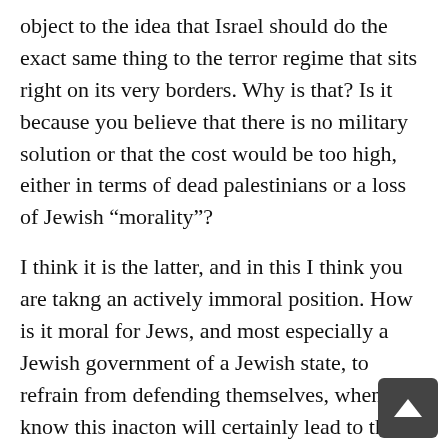object to the idea that Israel should do the exact same thing to the terror regime that sits right on its very borders. Why is that? Is it because you believe that there is no military solution or that the cost would be too high, either in terms of dead palestinians or a loss of Jewish “morality”?
I think it is the latter, and in this I think you are takng an actively immoral position. How is it moral for Jews, and most especially a Jewish government of a Jewish state, to refrain from defending themselves, when they know this inacton will certainly lead to the death of their fellow Jews? Because it is somehow “immoral” to defend yourself from one who is sworn to your destruction? This makes no sense to me at all.
To achieve peace in Europe, the Allies pursued total war against the Nazis and in the process not only destroyed their army, they killed millions of civilians in bombing raids, punsihing Germany so severely that it surrendered unconditionally. They then occupied them until Nazism